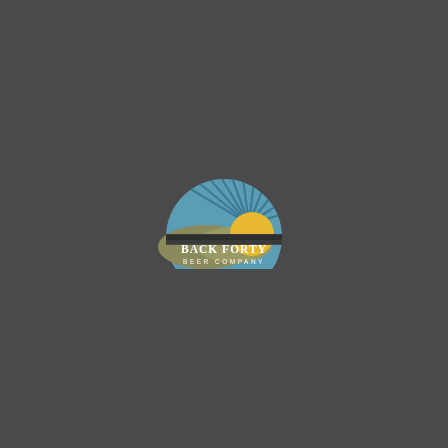[Figure (logo): Back Forty Beer Company logo. A semicircular design featuring a blue sky with radiating sun rays, a yellow/golden rising sun on the right, and rolling olive/khaki green hills at the bottom. Below the icon, bold white serif text reads 'BACK FORTY' and below that in smaller spaced letters 'BEER COMPANY'.]